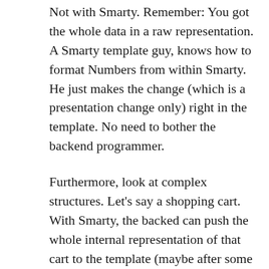Not with Smarty. Remember: You got the whole data in a raw representation. A Smarty template guy, knows how to format Numbers from within Smarty. He just makes the change (which is a presentation change only) right in the template. No need to bother the backend programmer.
Furthermore, look at complex structures. Let's say a shopping cart. With Smarty, the backed can push the whole internal representation of that cart to the template (maybe after some cleaning up – I usually pass an associative array of data to the template to have a unified way of working with model data over all templates). Now it's your Smarty guys responsibility (and responsibility) to do what's right here to help...